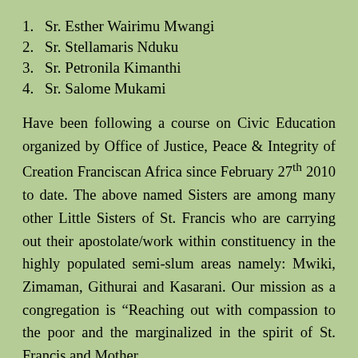1. Sr. Esther Wairimu Mwangi
2. Sr. Stellamaris Nduku
3. Sr. Petronila Kimanthi
4. Sr. Salome Mukami
Have been following a course on Civic Education organized by Office of Justice, Peace & Integrity of Creation Franciscan Africa since February 27th 2010 to date. The above named Sisters are among many other Little Sisters of St. Francis who are carrying out their apostolate/work within constituency in the highly populated semi-slum areas namely: Mwiki, Zimaman, Githurai and Kasarani. Our mission as a congregation is “Reaching out with compassion to the poor and the marginalized in the spirit of St. Francis and Mother